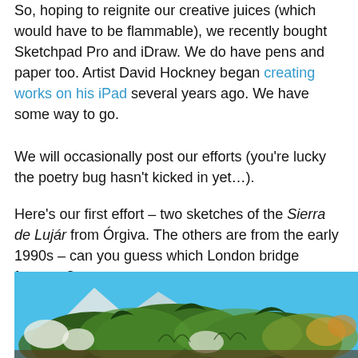So, hoping to reignite our creative juices (which would have to be flammable), we recently bought Sketchpad Pro and iDraw. We do have pens and paper too. Artist David Hockney began creating works on his iPad several years ago. We have some way to go.
We will occasionally post our efforts (you're lucky the poetry bug hasn't kicked in yet…).
Here's our first effort – two sketches of the Sierra de Lujár from Órgiva. The others are from the early 1990s – can you guess which London bridge features?
[Figure (illustration): A colorful digital sketch showing a mountain landscape (Sierra de Lujár) with blue sky background, green foliage and trees in the foreground, painted in a loose illustrative style using an iPad drawing app.]